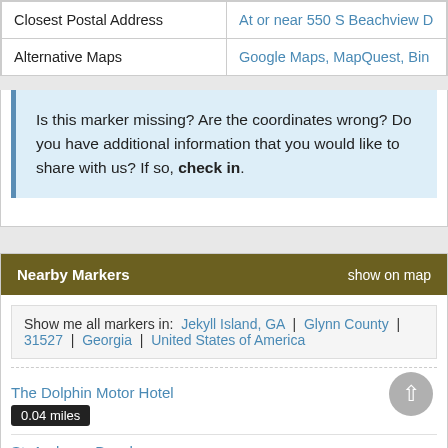|  |  |
| --- | --- |
| Closest Postal Address | At or near 550 S Beachview D |
| Alternative Maps | Google Maps, MapQuest, Bin |
Is this marker missing? Are the coordinates wrong? Do you have additional information that you would like to share with us? If so, check in.
Nearby Markers   show on map
Show me all markers in: Jekyll Island, GA | Glynn County | 31527 | Georgia | United States of America
The Dolphin Motor Hotel
0.04 miles
St. Andrews Beach